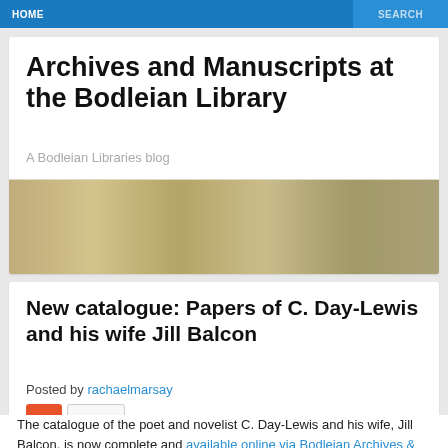HOME   SEARCH
Archives and Manuscripts at the Bodleian Library
A Bodleian Libraries blog
[Figure (photo): A horizontal strip showing archival/manuscript images]
New catalogue: Papers of C. Day-Lewis and his wife Jill Balcon
Posted by rachaelmarsay
The catalogue of the poet and novelist C. Day-Lewis and his wife, Jill Balcon, is now complete and available online via Bodleian Archives & Manuscripts.* These papers were generously donated by Daniel Day-Lewis and Tamasin Day-Lewis into the Bodleian Library in 2013.